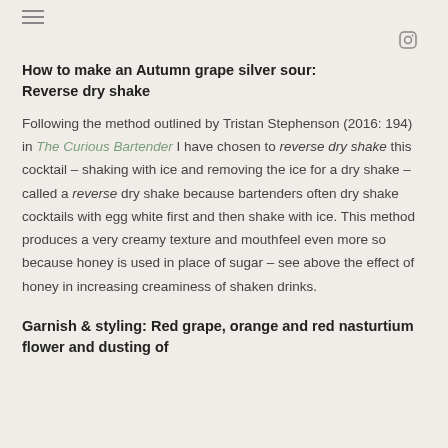≡
How to make an Autumn grape silver sour: Reverse dry shake
Following the method outlined by Tristan Stephenson (2016: 194) in The Curious Bartender I have chosen to reverse dry shake this cocktail – shaking with ice and removing the ice for a dry shake – called a reverse dry shake because bartenders often dry shake cocktails with egg white first and then shake with ice. This method produces a very creamy texture and mouthfeel even more so because honey is used in place of sugar – see above the effect of honey in increasing creaminess of shaken drinks.
Garnish & styling: Red grape, orange and red nasturtium flower and dusting of